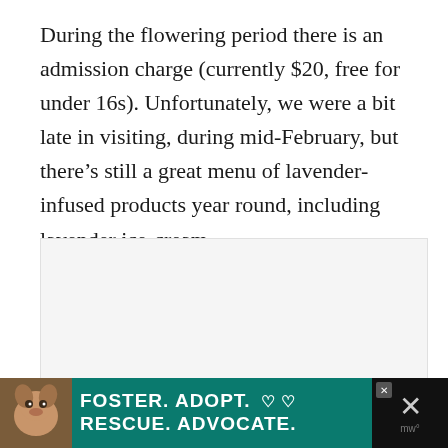During the flowering period there is an admission charge (currently $20, free for under 16s). Unfortunately, we were a bit late in visiting, during mid-February, but there's still a great menu of lavender-infused products year round, including lavender ice-cream.
[Figure (other): Advertisement/content carousel placeholder area with light grey background and three dot navigation indicators. A scroll-to-top button (grey square with up chevron) is visible in the lower right.]
[Figure (other): Banner advertisement at bottom of page: dark background with dog photo on left, teal/green section with bold white text reading 'FOSTER. ADOPT. RESCUE. ADVOCATE.' with heart symbols, and close button on right.]